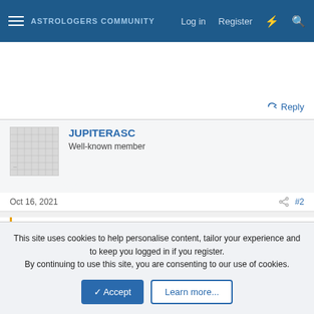ASTROLOGERS COMMUNITY  Log in  Register
Reply
JUPITERASC
Well-known member
Oct 16, 2021  #2
athair said:
Hi; my chart has Sag 23,30 Ascendant; 23 Acquarius Mars and 26 Libra NN.
This site uses cookies to help personalise content, tailor your experience and to keep you logged in if you register.
By continuing to use this site, you are consenting to our use of cookies.
Accept  Learn more...